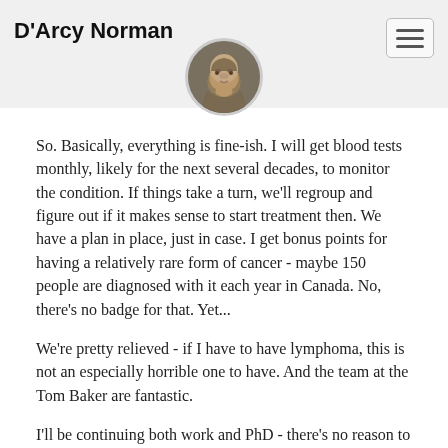D'Arcy Norman
[Figure (photo): Circular avatar photo of a bearded man]
So. Basically, everything is fine-ish. I will get blood tests monthly, likely for the next several decades, to monitor the condition. If things take a turn, we'll regroup and figure out if it makes sense to start treatment then. We have a plan in place, just in case. I get bonus points for having a relatively rare form of cancer - maybe 150 people are diagnosed with it each year in Canada. No, there's no badge for that. Yet...
We're pretty relieved - if I have to have lymphoma, this is not an especially horrible one to have. And the team at the Tom Baker are fantastic.
I'll be continuing both work and PhD - there's no reason to alter any plans there, aside from promising Janice that I wouldn't travel for awhile.
I'm fine. We're doing well - it actually feels like a HUGE weight off my shoulders, now that I know what's up. I'm feeling great.